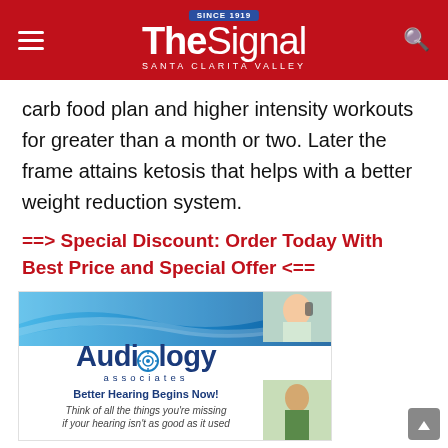The Signal — Santa Clarita Valley
carb food plan and higher intensity workouts for greater than a month or two. Later the frame attains ketosis that helps with a better weight reduction system.
==> Special Discount: Order Today With Best Price and Special Offer <==
[Figure (logo): Audiology Associates advertisement banner with blue wavy design, logo reading 'Audiology associates', tagline 'Better Hearing Begins Now!', subtext 'Think of all the things you're missing if your hearing isn't as good as it used']